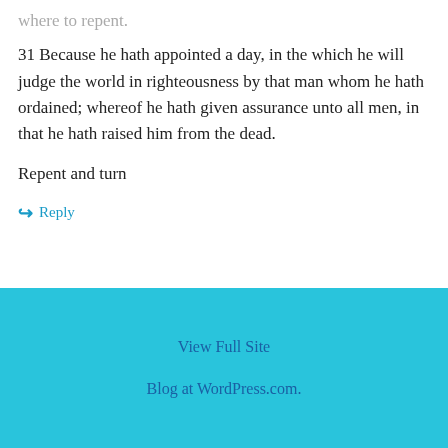where to repent.
31 Because he hath appointed a day, in the which he will judge the world in righteousness by that man whom he hath ordained; whereof he hath given assurance unto all men, in that he hath raised him from the dead.
Repent and turn
Reply
View Full Site
Blog at WordPress.com.